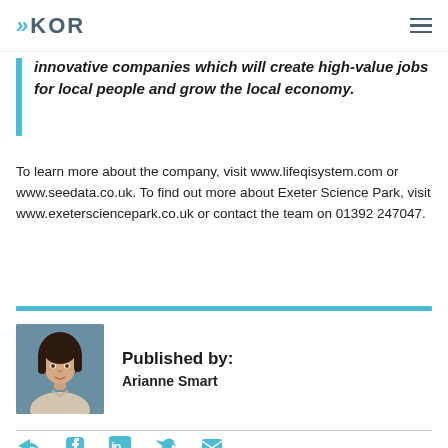KOR
innovative companies which will create high-value jobs for local people and grow the local economy.
To learn more about the company, visit www.lifeqisystem.com or www.seedata.co.uk. To find out more about Exeter Science Park, visit www.exetersciencepark.co.uk or contact the team on 01392 247047.
[Figure (photo): Photo of Arianne Smart, a woman with long dark hair]
Published by: Arianne Smart
[Figure (infographic): Social media share icons: share, Facebook, LinkedIn, Twitter, email]